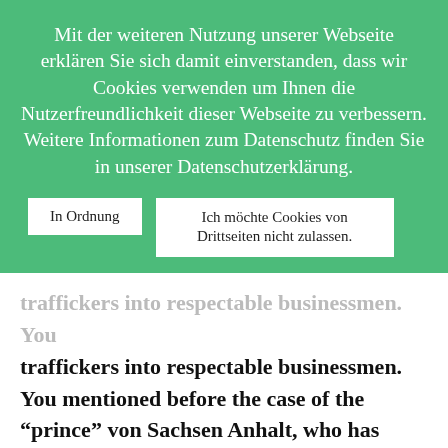Mit der weiteren Nutzung unserer Webseite erklären Sie sich damit einverstanden, dass wir Cookies verwenden um Ihnen die Nutzerfreundlichkeit dieser Webseite zu verbessern. Weitere Informationen zum Datenschutz finden Sie in unserer Datenschutzerklärung.
In Ordnung
Ich möchte Cookies von Drittseiten nicht zulassen.
traffickers into respectable businessmen. You mentioned before the case of the "prince" von Sachsen Anhalt, who has invested in brothels. These "businessmen" can now openly publish ads to recruit new prostitutes, advertisements for brothels can be seen everywhere. Can you tell us about this "normalization" of pimping and prostitution and the effect it has...